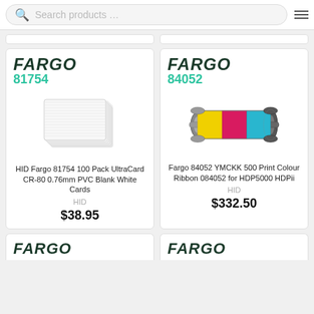[Figure (screenshot): Search bar with magnifying glass icon and menu icon]
[Figure (photo): Stack of white PVC blank cards - HID Fargo 81754]
HID Fargo 81754 100 Pack UltraCard CR-80 0.76mm PVC Blank White Cards
HID
$38.95
[Figure (photo): YMCKK colour ribbon with yellow, magenta, cyan, black panels - Fargo 84052]
Fargo 84052 YMCKK 500 Print Colour Ribbon 084052 for HDP5000 HDPii
HID
$332.50
[Figure (photo): Partial FARGO product card at bottom left]
[Figure (photo): Partial FARGO product card at bottom right]